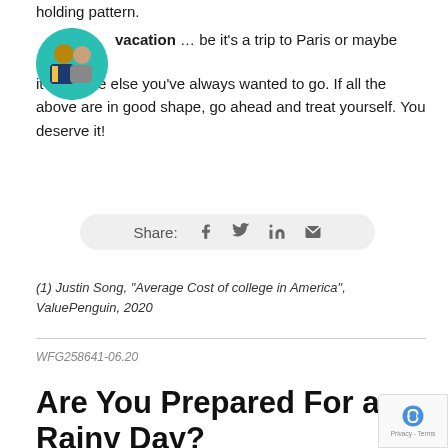holding pattern.
vacation … be it's a trip to Paris or maybe it's a place else you've always wanted to go. If all the above are in good shape, go ahead and treat yourself. You deserve it!
[Figure (photo): Circular avatar photo of a man and woman, bordered with teal/green circle]
Share:
(1) Justin Song, "Average Cost of college in America", ValuePenguin, 2020
WFG258641-06.20
Are You Prepared For a Rainy Day?